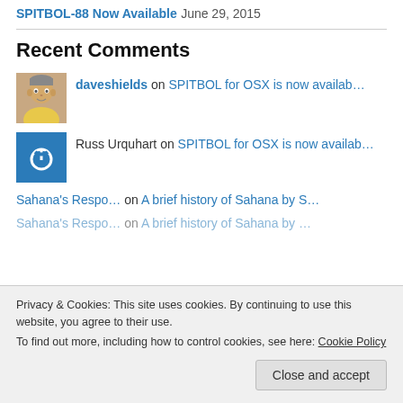SPITBOL-88 Now Available June 29, 2015
Recent Comments
daveshields on SPITBOL for OSX is now availab…
Russ Urquhart on SPITBOL for OSX is now availab…
Sahana's Respo… on A brief history of Sahana by S…
Sahana's Respo… on A brief history of Sahana by …
Privacy & Cookies: This site uses cookies. By continuing to use this website, you agree to their use. To find out more, including how to control cookies, see here: Cookie Policy